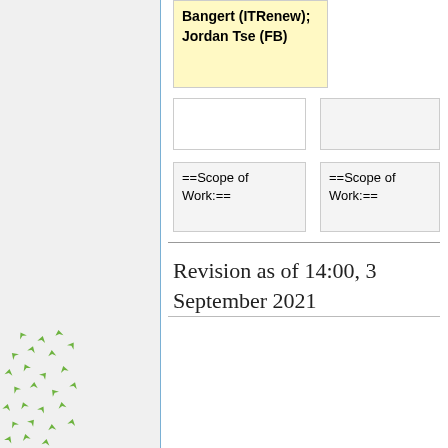| Bangert (ITRenew); Jordan Tse (FB) |  |  |
|  |  |  |
| ==Scope of Work:== | ==Scope of Work:== |  |
Revision as of 14:00, 3 September 2021
[Figure (logo): Open Compute Project logo with green leaf decoration on the left and 'OPEN Compute Project ®' text in grey]